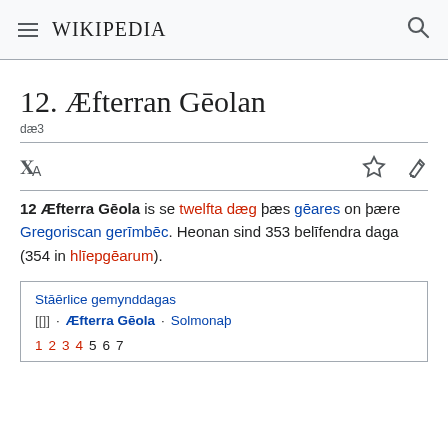≡ WIKIPEDIA 🔍
12. Æfterran Gēolan
dæ3
12 Æfterra Gēola is se twelfta dæg þæs gēares on þære Gregoriscan gerīmbēc. Heonan sind 353 belīfendra daga (354 in hlīepgēarum).
Stāērlice gemynddagas
[[]] · Æfterra Gēola · Solmonaþ
1 2 3 4 5 6 7